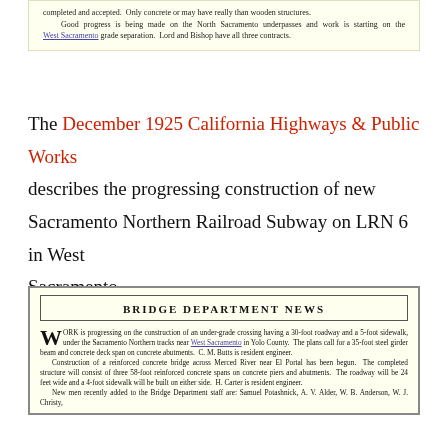completed and accepted. Only concrete or may have really than wooden structures.
Good progress is being made on the North Sacramento underpasses and work is starting on the West Sacramento grade separation. Lord and Bishop have all three contracts.
The December 1925 California Highways & Public Works describes the progressing construction of new Sacramento Northern Railroad Subway on LRN 6 in West Sacramento.
BRIDGE DEPARTMENT NEWS
WORK is progressing on the construction of an under-grade crossing having a 30-foot roadway and a 5-foot sidewalk, under the Sacramento Northern tracks near West Sacramento in Yolo County. The plans call for a 35-foot steel girder beam and concrete deck span on concrete abutments. C. M. Butts is resident engineer.

Construction of a reinforced concrete bridge across Merced River near El Portal has been begun. The completed structure will consist of three 58-foot reinforced concrete spans on concrete piers and abutments. The roadway will be 24 feet wide and a 4-foot sidewalk will be built on either side. H. Carter is resident engineer.

New men recently added to the Bridge Department staff are: Samuel Potashnick, A. V. Alder, W. B. Anderson, W. J. Christy,